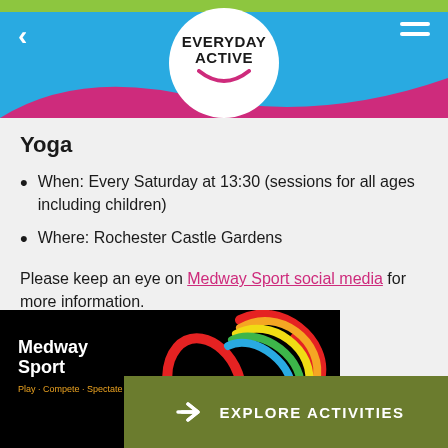[Figure (logo): Everyday Active logo in white circle on blue header with green top bar and pink wave]
Yoga
When: Every Saturday at 13:30 (sessions for all ages including children)
Where: Rochester Castle Gardens
Please keep an eye on Medway Sport social media for more information.
[Figure (logo): Medway Sport logo on black background with colourful swirl graphic and Explore Activities button]